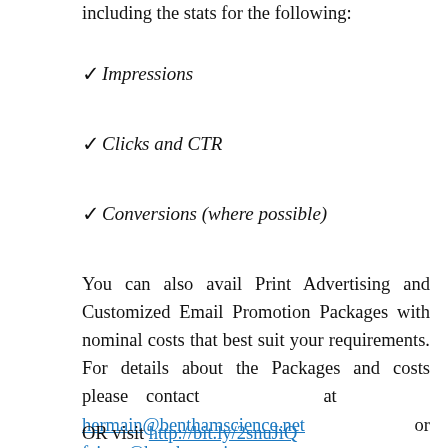including the stats for the following:
✓ Impressions
✓ Clicks and CTR
✓ Conversions (where possible)
You can also avail Print Advertising and Customized Email Promotion Packages with nominal costs that best suit your requirements. For details about the Packages and costs please contact at hermain@benthamscience.net or faizan@benthamscience.net
OR visit http://bit.ly/2snuJiQ